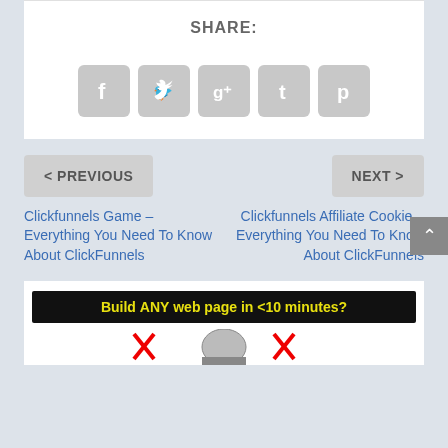SHARE:
[Figure (other): Social share buttons: Facebook, Twitter, Google+, Tumblr, Pinterest icons in gray rounded squares]
< PREVIOUS
NEXT >
Clickfunnels Game – Everything You Need To Know About ClickFunnels
Clickfunnels Affiliate Cookie – Everything You Need To Know About ClickFunnels
[Figure (other): Advertisement banner: 'Build ANY web page in <10 minutes?' on black background with yellow text, with partial illustration below]